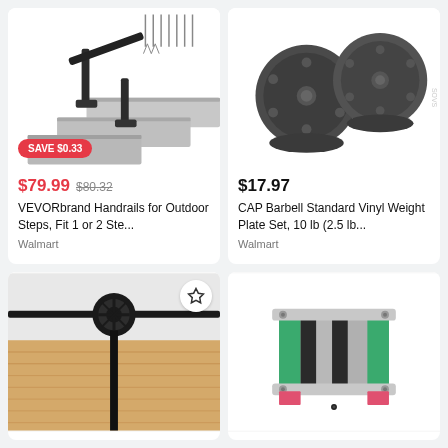[Figure (photo): VEVORbrand metal handrail on concrete outdoor steps with screws hardware shown]
SAVE $0.33
$79.99 $80.32
VEVORbrand Handrails for Outdoor Steps, Fit 1 or 2 Ste...
Walmart
[Figure (photo): CAP Barbell Standard Vinyl Weight Plate Set showing two dark gray round plates]
$17.97
CAP Barbell Standard Vinyl Weight Plate Set, 10 lb (2.5 lb...
Walmart
[Figure (photo): Barn door sliding hardware kit showing black metal wheel roller on wooden plank door]
[Figure (photo): Linear guide rail block component with green, gray and black stripe pattern]